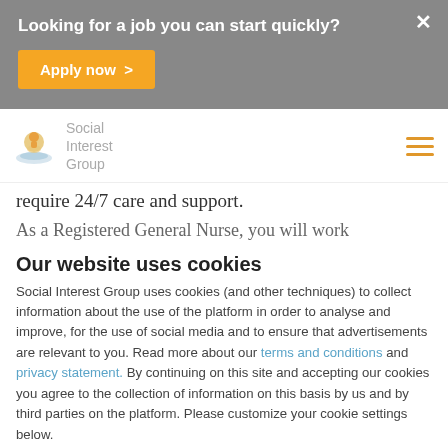Looking for a job you can start quickly?
Apply now >
[Figure (logo): Social Interest Group logo with icon and text]
require 24/7 care and support.
As a Registered General Nurse, you will work
Our website uses cookies
Social Interest Group uses cookies (and other techniques) to collect information about the use of the platform in order to analyse and improve, for the use of social media and to ensure that advertisements are relevant to you. Read more about our terms and conditions and privacy statement. By continuing on this site and accepting our cookies you agree to the collection of information on this basis by us and by third parties on the platform. Please customize your cookie settings below.